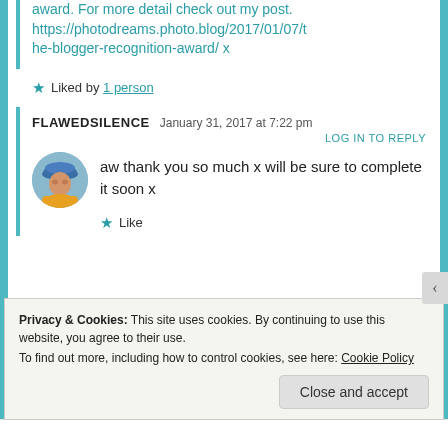award. For more detail check out my post. https://photodreams.photo.blog/2017/01/07/the-blogger-recognition-award/ x
★ Liked by 1 person
FLAWEDSILENCE  January 31, 2017 at 7:22 pm
LOG IN TO REPLY
[Figure (photo): Circular avatar photo of a person wearing a blue hat and yellow jacket]
aw thank you so much x will be sure to complete it soon x
★ Like
Privacy & Cookies: This site uses cookies. By continuing to use this website, you agree to their use.
To find out more, including how to control cookies, see here: Cookie Policy
Close and accept